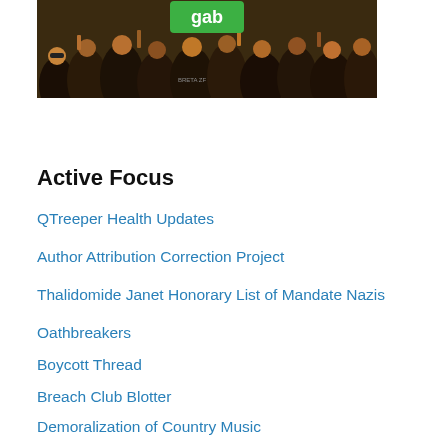[Figure (photo): Crowd of people at a rally, one person holding a green 'gab' sign above the crowd]
Active Focus
QTreeper Health Updates
Author Attribution Correction Project
Thalidomide Janet Honorary List of Mandate Nazis
Oathbreakers
Boycott Thread
Breach Club Blotter
Demoralization of Country Music
Wolf's House Rally Photo Essay